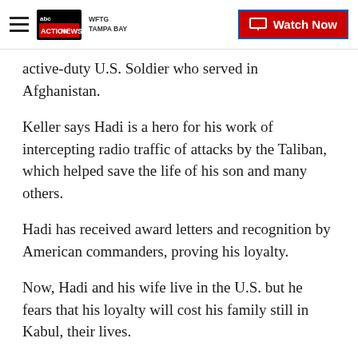WFTG TAMPA BAY | Watch Now
active-duty U.S. Soldier who served in Afghanistan.
Keller says Hadi is a hero for his work of intercepting radio traffic of attacks by the Taliban, which helped save the life of his son and many others.
Hadi has received award letters and recognition by American commanders, proving his loyalty.
Now, Hadi and his wife live in the U.S. but he fears that his loyalty will cost his family still in Kabul, their lives.
"They are in a bad situation, we don't know when the